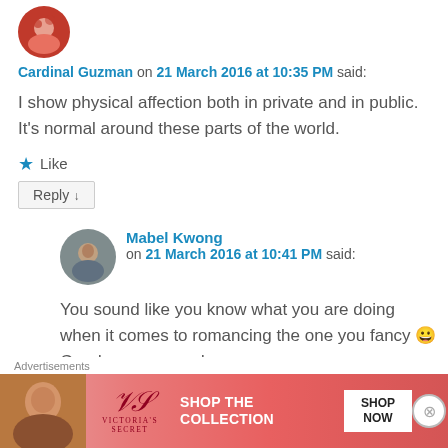Cardinal Guzman on 21 March 2016 at 10:35 PM said:
I show physical affection both in private and in public. It's normal around these parts of the world.
Like
Reply ↓
Mabel Kwong on 21 March 2016 at 10:41 PM said:
You sound like you know what you are doing when it comes to romancing the one you fancy 😀 Good on you, good man.
Advertisements
[Figure (photo): Victoria's Secret advertisement banner with a woman and SHOP THE COLLECTION text with SHOP NOW button]